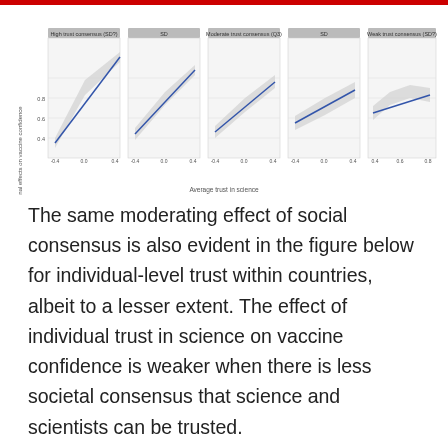[Figure (continuous-plot): Five-panel line chart showing marginal effects on vaccine confidence (y-axis, ~0.4 to ~1.0) vs Average trust in science (x-axis, ~-0.4 to 0.4). Panels from left to right: High trust consensus (SD?), SD, Moderate trust consensus (Q3?), SD, Weak trust consensus (SD?). Each panel shows a blue regression line with grey confidence band. The slope is steep/positive for high-trust panels and flatter for low-trust panels.]
The same moderating effect of social consensus is also evident in the figure below for individual-level trust within countries, albeit to a lesser extent. The effect of individual trust in science on vaccine confidence is weaker when there is less societal consensus that science and scientists can be trusted.